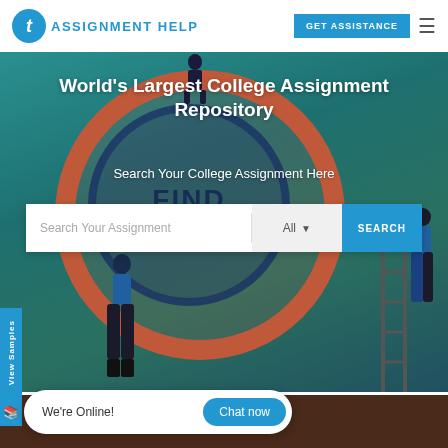TAssignmentHelp
[Figure (screenshot): Hero banner with illustrated figures searching a large circular 'FIND ANSWERS' graphic on a teal background]
World's Largest College Assignment Repository
Search Your College Assignment Here
Search Your Assignment | All ▾ | SEARCH
View Samples
We're Online!  Chat now